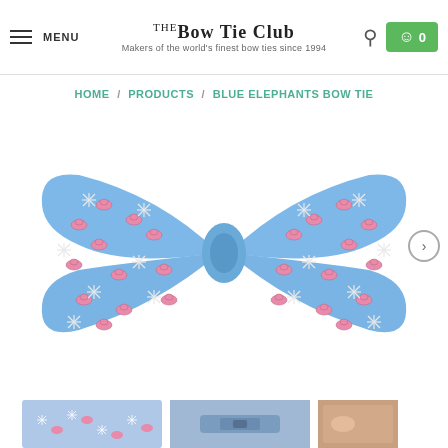MENU | THE BOW TIE CLUB – Makers of the world's finest bow ties since 1994
HOME / PRODUCTS / BLUE ELEPHANTS BOW TIE
[Figure (photo): A blue bow tie with a repeating pattern of pink elephants and white palm tree / snowflake motifs on a sky blue background. The bow tie is photographed flat, showing both lobes and the central knot.]
[Figure (photo): Three small thumbnail images of the bow tie from alternate angles at the bottom of the page.]